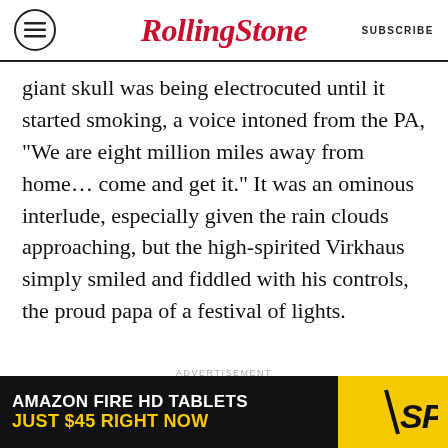RollingStone | SUBSCRIBE
giant skull was being electrocuted until it started smoking, a voice intoned from the PA, "We are eight million miles away from home… come and get it." It was an ominous interlude, especially given the rain clouds approaching, but the high-spirited Virkhaus simply smiled and fiddled with his controls, the proud papa of a festival of lights.
ADVERTISEMENT
[Figure (other): Amazon Fire HD Tablets advertisement banner: black background with white text 'AMAZON FIRE HD TABLETS' and yellow text 'JUST $45 RIGHT NOW', with SPY logo on yellow background]